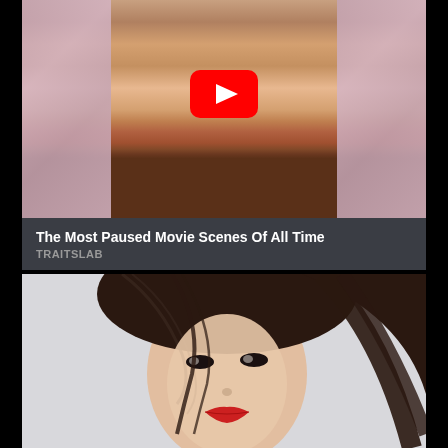[Figure (screenshot): YouTube video thumbnail showing a blonde woman in a pink outfit seated in a chair with floral wallpaper background, with a YouTube play button overlay]
The Most Paused Movie Scenes Of All Time
TRAITSLAB
[Figure (photo): Portrait photo of an Asian woman with long dark hair and red lipstick against a light gray background]